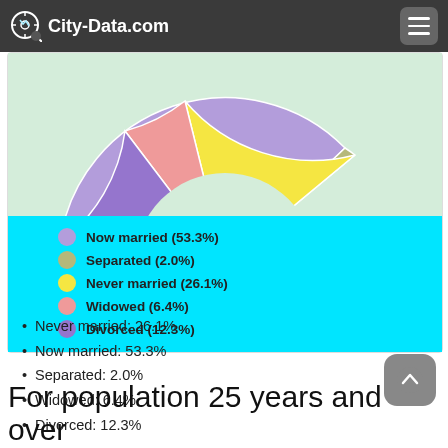City-Data.com
[Figure (donut-chart): Marital status donut chart]
Never married: 26.1%
Now married: 53.3%
Separated: 2.0%
Widowed: 6.4%
Divorced: 12.3%
For population 25 years and over